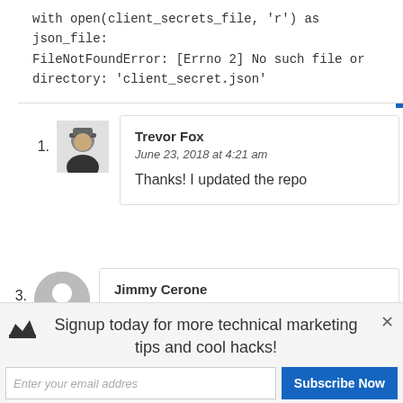with open(client_secrets_file, 'r') as json_file:
FileNotFoundError: [Errno 2] No such file or directory: 'client_secret.json'
1. Trevor Fox
June 23, 2018 at 4:21 am
Thanks! I updated the repo
3. Jimmy Cerone
July 11, 2018 at 10:38 pm
Signup today for more technical marketing tips and cool hacks!